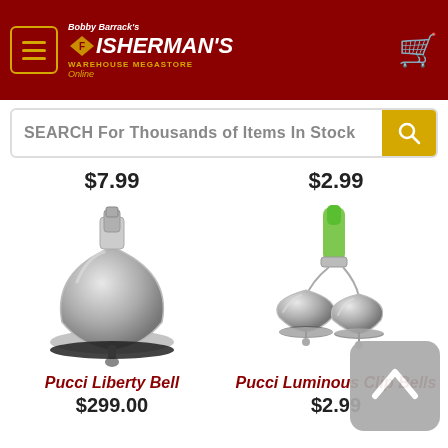Bobby Barrack's Fisherman's Warehouse Megastore Online
SEARCH For Thousands of Items In Stock
$7.99
$2.99
[Figure (photo): Pucci Liberty Bell - silver chrome bell with clamp mount on black base]
[Figure (photo): Pucci Luminous Clip Bells - two silver bells with green luminous plastic clip]
Pucci Liberty Bell
$299.00
Pucci Luminous Clip Bells
$2.99